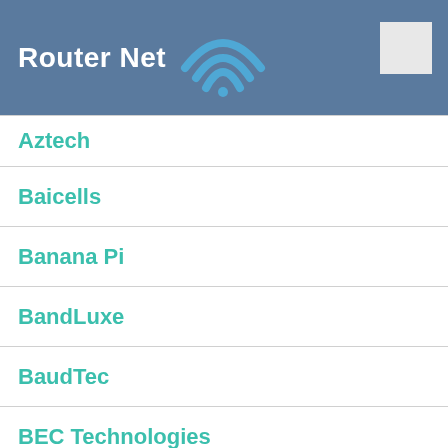Router Net
Aztech
Baicells
Banana Pi
BandLuxe
BaudTec
BEC Technologies
Beeline
BelAir Networks
BCM
Belkin
BenQ